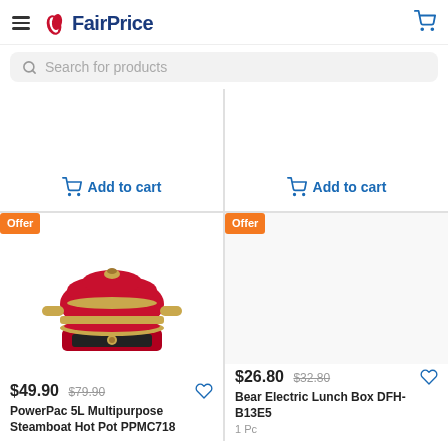FairPrice
Search for products
Add to cart
Add to cart
Offer
[Figure (photo): Red and gold PowerPac 5L Multipurpose Steamboat Hot Pot PPMC718]
$49.90 $79.90
PowerPac 5L Multipurpose Steamboat Hot Pot PPMC718
Offer
$26.80 $32.80
Bear Electric Lunch Box DFH-B13E5
1 Pc